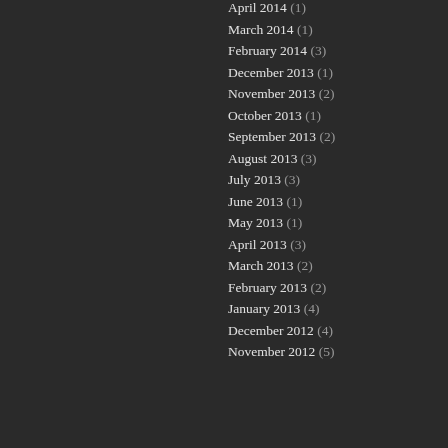April 2014 (1)
March 2014 (1)
February 2014 (3)
December 2013 (1)
November 2013 (2)
October 2013 (1)
September 2013 (2)
August 2013 (3)
July 2013 (3)
June 2013 (1)
May 2013 (1)
April 2013 (3)
March 2013 (2)
February 2013 (2)
January 2013 (4)
December 2012 (4)
November 2012 (5)